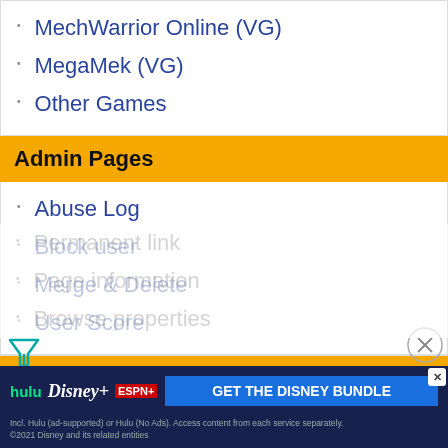MechWarrior Online (VG)
MegaMek (VG)
Other Games
Admin Pages
Abuse Log
Block user
Merge & Delete
User Score
Tools
What links here
Related changes
Special pages
Printable version
Permanent link
Page information
Browse properties
[Figure (screenshot): Disney Bundle advertisement banner with Hulu, Disney+, and ESPN+ logos and 'GET THE DISNEY BUNDLE' call to action button]